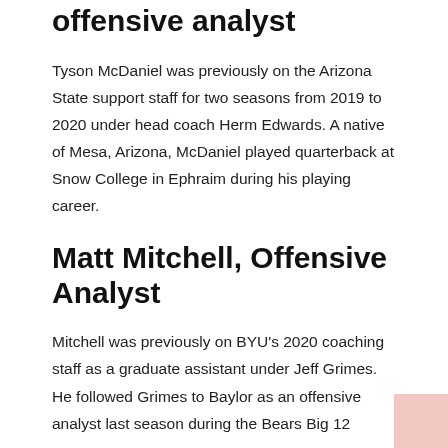offensive analyst
Tyson McDaniel was previously on the Arizona State support staff for two seasons from 2019 to 2020 under head coach Herm Edwards. A native of Mesa, Arizona, McDaniel played quarterback at Snow College in Ephraim during his playing career.
Matt Mitchell, Offensive Analyst
Mitchell was previously on BYU's 2020 coaching staff as a graduate assistant under Jeff Grimes. He followed Grimes to Baylor as an offensive analyst last season during the Bears Big 12